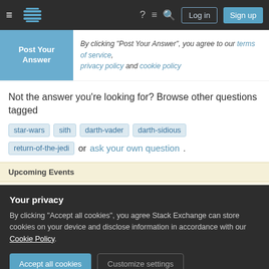Stack Exchange navigation bar with Log in and Sign up buttons
By clicking "Post Your Answer", you agree to our terms of service, privacy policy and cookie policy
Not the answer you're looking for? Browse other questions tagged star-wars sith darth-vader darth-sidious return-of-the-jedi or ask your own question.
Upcoming Events
August 2022 Topic Challenge: A Wrinkle in Time and sequels
Your privacy
By clicking "Accept all cookies", you agree Stack Exchange can store cookies on your device and disclose information in accordance with our Cookie Policy.
Latest Blog Post: Prey (2022) – In 100 words or less Spoiler